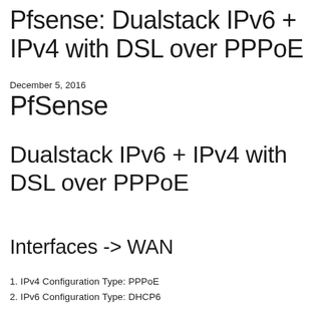Pfsense: Dualstack IPv6 + IPv4 with DSL over PPPoE
December 5, 2016
PfSense
Dualstack IPv6 + IPv4 with DSL over PPPoE
Interfaces -> WAN
1. IPv4 Configuration Type: PPPoE
2. IPv6 Configuration Type: DHCP6